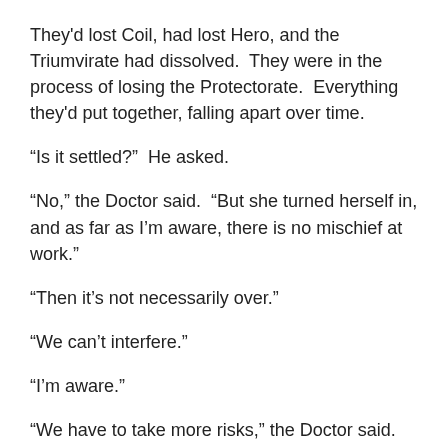They'd lost Coil, had lost Hero, and the Triumvirate had dissolved.  They were in the process of losing the Protectorate.  Everything they'd put together, falling apart over time.
“Is it settled?”  He asked.
“No,” the Doctor said.  “But she turned herself in, and as far as I’m aware, there is no mischief at work.”
“Then it’s not necessarily over.”
“We can’t interfere.”
“I’m aware.”
“We have to take more risks,” the Doctor said.  “If we’re going to recover from these last few setbacks.”